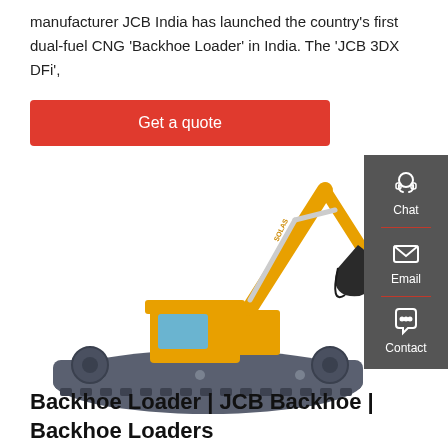manufacturer JCB India has launched the country's first dual-fuel CNG 'Backhoe Loader' in India. The 'JCB 3DX DFi',
[Figure (illustration): Yellow tracked excavator/backhoe loader on a dark pontoon/barge platform with extended boom arm and bucket]
[Figure (infographic): Dark grey sidebar with Chat (headset icon), Email (envelope icon), and Contact (speech bubble with dots icon) buttons]
Backhoe Loader | JCB Backhoe | Backhoe Loaders